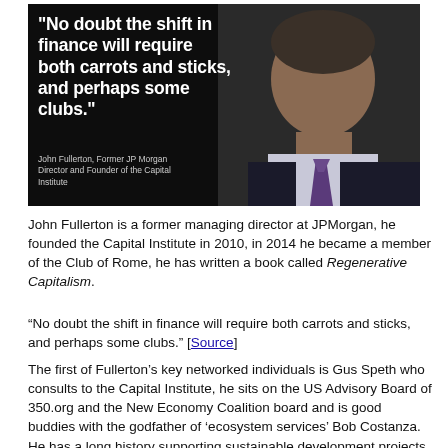[Figure (photo): Photo of John Fullerton speaking, with overlaid bold white quote text: "No doubt the shift in finance will require both carrots and sticks, and perhaps some clubs." Attribution: John Fullerton, Former JP Morgan Director and Founder of the Capital Institute]
John Fullerton is a former managing director at JPMorgan, he founded the Capital Institute in 2010, in 2014 he became a member of the Club of Rome, he has written a book called Regenerative Capitalism.
“No doubt the shift in finance will require both carrots and sticks, and perhaps some clubs.” [Source]
The first of Fullerton’s key networked individuals is Gus Speth who consults to the Capital Institute, he sits on the US Advisory Board of 350.org and the New Economy Coalition board and is good buddies with the godfather of ‘ecosystem services’ Bob Costanza. He has a long history supporting sustainable development projects and has